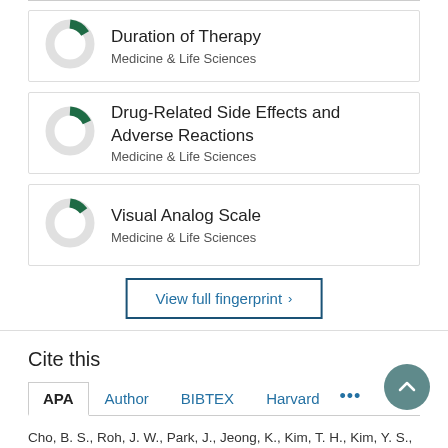[Figure (donut-chart): Small donut chart with green filled segment (~15%) for Duration of Therapy]
Duration of Therapy
Medicine & Life Sciences
[Figure (donut-chart): Small donut chart with green filled segment (~18%) for Drug-Related Side Effects and Adverse Reactions]
Drug-Related Side Effects and Adverse Reactions
Medicine & Life Sciences
[Figure (donut-chart): Small donut chart with green filled segment (~13%) for Visual Analog Scale]
Visual Analog Scale
Medicine & Life Sciences
View full fingerprint >
Cite this
APA  Author  BIBTEX  Harvard ...
Cho, B. S., Roh, J. W., Park, J., Jeong, K., Kim, T. H., Kim, Y. S.,